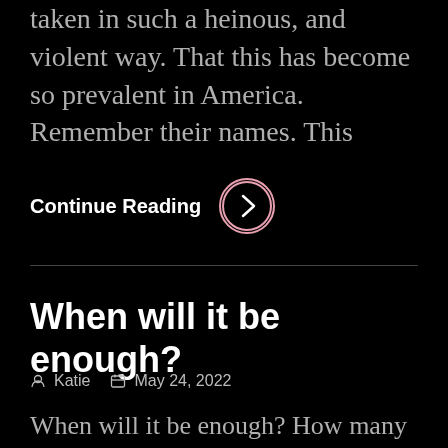taken in such a heinous, and violent way. That this has become so prevalent in America. Remember their names. This
Continue Reading
When will it be enough?
Katie   May 24, 2022
When will it be enough? How many children have to die until we finally